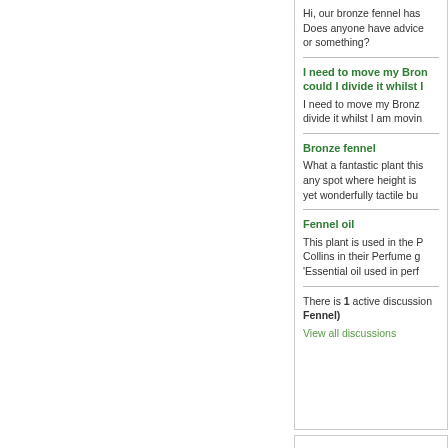Hi, our bronze fennel has... Does anyone have advice... or something?
I need to move my Bron... could I divide it whilst I...
I need to move my Bronz... divide it whilst I am movin...
Bronze fennel
What a fantastic plant this... any spot where height is... yet wonderfully tactile bu...
Fennel oil
This plant is used in the P... Collins in their Perfume g... 'Essential oil used in perf...
There is 1 active discussion... Fennel)
View all discussions